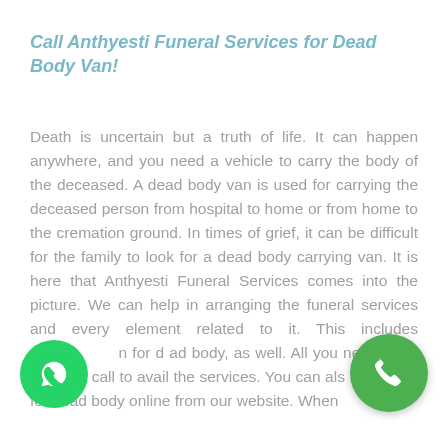Call Anthyesti Funeral Services for Dead Body Van!
Death is uncertain but a truth of life. It can happen anywhere, and you need a vehicle to carry the body of the deceased. A dead body van is used for carrying the deceased person from hospital to home or from home to the cremation ground. In times of grief, it can be difficult for the family to look for a dead body carrying van. It is here that Anthyesti Funeral Services comes into the picture. We can help in arranging the funeral services and every element related to it. This includes the van for dead body, as well. All you need to do is give a call to avail the services. You can also book van for dead body online from our website. When